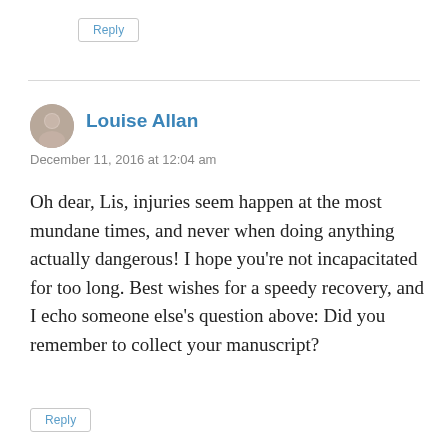Reply
Louise Allan
December 11, 2016 at 12:04 am
Oh dear, Lis, injuries seem happen at the most mundane times, and never when doing anything actually dangerous! I hope you’re not incapacitated for too long. Best wishes for a speedy recovery, and I echo someone else’s question above: Did you remember to collect your manuscript?
Reply